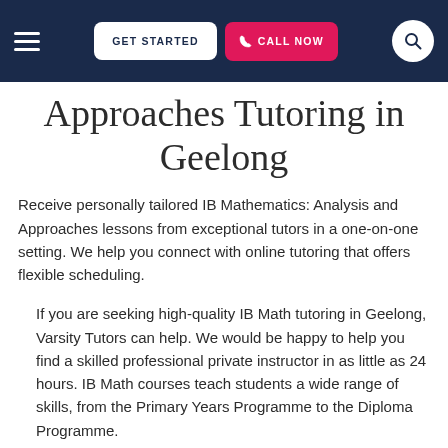GET STARTED | CALL NOW
Approaches Tutoring in Geelong
Receive personally tailored IB Mathematics: Analysis and Approaches lessons from exceptional tutors in a one-on-one setting. We help you connect with online tutoring that offers flexible scheduling.
If you are seeking high-quality IB Math tutoring in Geelong, Varsity Tutors can help. We would be happy to help you find a skilled professional private instructor in as little as 24 hours. IB Math courses teach students a wide range of skills, from the Primary Years Programme to the Diploma Programme.